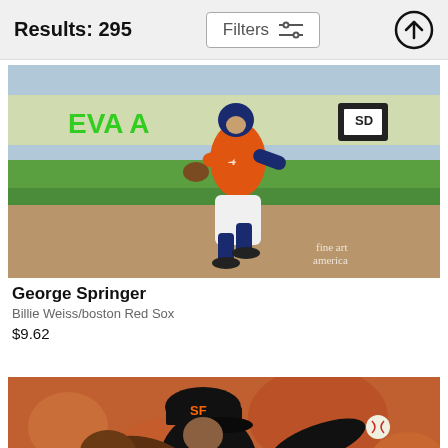Results: 295
Filters
[Figure (photo): Baseball player George Springer in Houston Astros orange jersey number 4, running on the field. Green grass and brown dirt infield visible. Fine art america watermark in lower right.]
George Springer
Billie Weiss/boston Red Sox
$9.62
[Figure (photo): Baseball pitcher for San Francisco Giants in black SF cap and uniform, winding up to throw a pitch. Crowd blurred in background.]